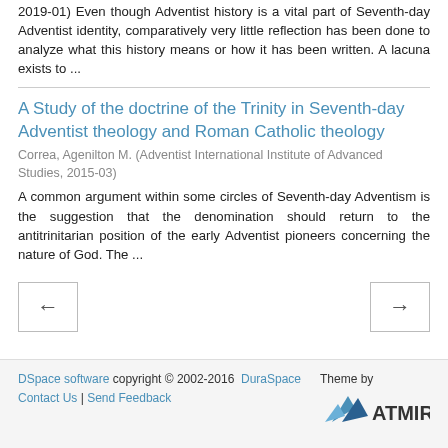2019-01) Even though Adventist history is a vital part of Seventh-day Adventist identity, comparatively very little reflection has been done to analyze what this history means or how it has been written. A lacuna exists to ...
A Study of the doctrine of the Trinity in Seventh-day Adventist theology and Roman Catholic theology
Correa, Agenilton M. (Adventist International Institute of Advanced Studies, 2015-03)
A common argument within some circles of Seventh-day Adventism is the suggestion that the denomination should return to the antitrinitarian position of the early Adventist pioneers concerning the nature of God. The ...
[Figure (other): Navigation buttons: left arrow and right arrow]
DSpace software copyright © 2002-2016  DuraSpace  Contact Us | Send Feedback   Theme by ATMIRE